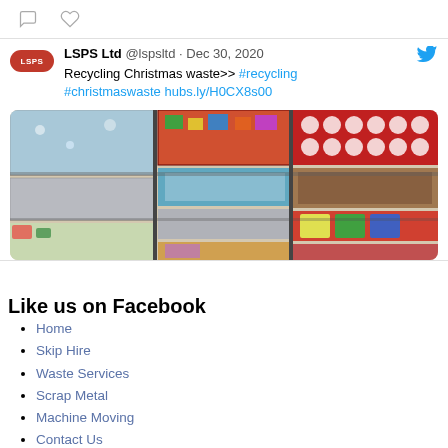[Figure (screenshot): Top bar with speech bubble and heart icons]
LSPS Ltd @lspsltd · Dec 30, 2020
Recycling Christmas waste>> #recycling #christmaswaste hubs.ly/H0CX8s00
[Figure (photo): Photo of stacked Christmas wrapping paper bales in festive patterns]
Like us on Facebook
Home
Skip Hire
Waste Services
Scrap Metal
Machine Moving
Contact Us
Resources